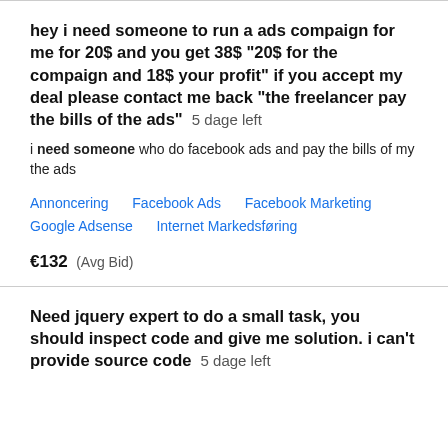hey i need someone to run a ads compaign for me for 20$ and you get 38$ "20$ for the compaign and 18$ your profit" if you accept my deal please contact me back "the freelancer pay the bills of the ads"  5 dage left
i need someone who do facebook ads and pay the bills of my the ads
Annoncering   Facebook Ads   Facebook Marketing   Google Adsense   Internet Markedsføring
€132  (Avg Bid)
Need jquery expert to do a small task, you should inspect code and give me solution. i can't provide source code  5 dage left